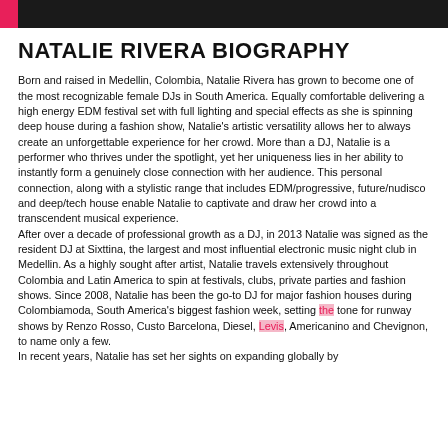NATALIE RIVERA BIOGRAPHY
Born and raised in Medellin, Colombia, Natalie Rivera has grown to become one of the most recognizable female DJs in South America. Equally comfortable delivering a high energy EDM festival set with full lighting and special effects as she is spinning deep house during a fashion show, Natalie's artistic versatility allows her to always create an unforgettable experience for her crowd. More than a DJ, Natalie is a performer who thrives under the spotlight, yet her uniqueness lies in her ability to instantly form a genuinely close connection with her audience. This personal connection, along with a stylistic range that includes EDM/progressive, future/nudisco and deep/tech house enable Natalie to captivate and draw her crowd into a transcendent musical experience.
After over a decade of professional growth as a DJ, in 2013 Natalie was signed as the resident DJ at Sixttina, the largest and most influential electronic music night club in Medellin. As a highly sought after artist, Natalie travels extensively throughout Colombia and Latin America to spin at festivals, clubs, private parties and fashion shows. Since 2008, Natalie has been the go-to DJ for major fashion houses during Colombiamoda, South America's biggest fashion week, setting the tone for runway shows by Renzo Rosso, Custo Barcelona, Diesel, Levis, Americanino and Chevignon, to name only a few.
In recent years, Natalie has set her sights on expanding globally by